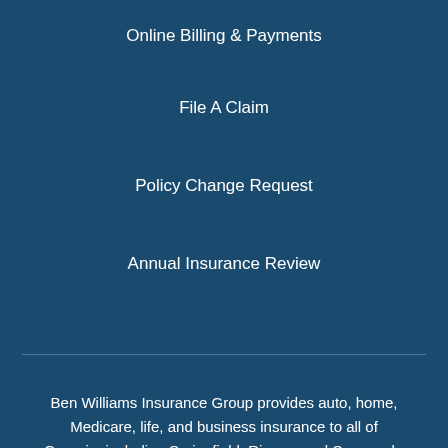Online Billing & Payments
File A Claim
Policy Change Request
Annual Insurance Review
Ben Williams Insurance Group provides auto, home, Medicare, life, and business insurance to all of Georgia, including Springfield, Rincon, and Savannah.